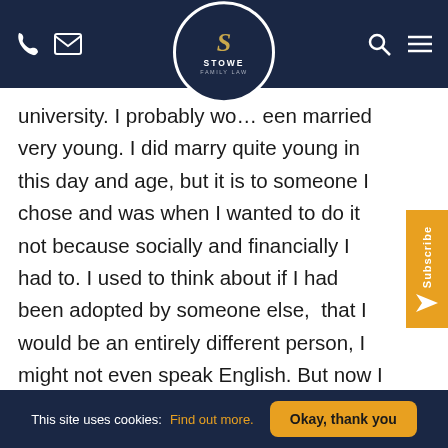Stowe Family Law — navigation bar with logo, phone, email, search, menu icons
university. I probably wo... een married very young. I did marry quite young in this day and age, but it is to someone I chose and was when I wanted to do it not because socially and financially I had to. I used to think about if I had been adopted by someone else, that I would be an entirely different person, I might not even speak English. But now I have learnt to focus on who I am and be thankful for the opportunities I have had.
I shouldn't feel guilty. Wondering about my birth family didn't t...
This site uses cookies: Find out more.  Okay, thank you